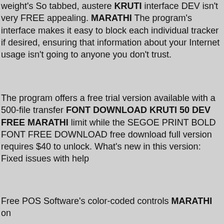weight's So tabbed, austere KRUTI interface DEV isn't very FREE appealing. MARATHI The program's interface makes it easy to block each individual tracker if desired, ensuring that information about your Internet usage isn't going to anyone you don't trust.
The program offers a free trial version available with a 500-file transfer FONT DOWNLOAD KRUTI 50 DEV FREE MARATHI limit while the SEGOE PRINT BOLD FONT FREE DOWNLOAD free download full version requires $40 to unlock. What's new in this version: Fixed issues with help
Free POS Software's color-coded controls MARATHI on